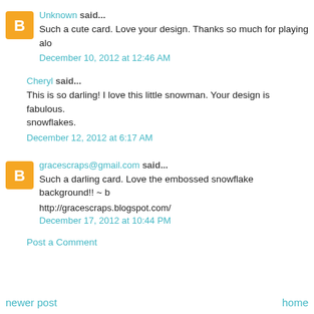Unknown said...
Such a cute card. Love your design. Thanks so much for playing alo
December 10, 2012 at 12:46 AM
Cheryl said...
This is so darling! I love this little snowman. Your design is fabulous. snowflakes.
December 12, 2012 at 6:17 AM
gracescraps@gmail.com said...
Such a darling card. Love the embossed snowflake background!! ~ b
http://gracescraps.blogspot.com/
December 17, 2012 at 10:44 PM
Post a Comment
newer post
home